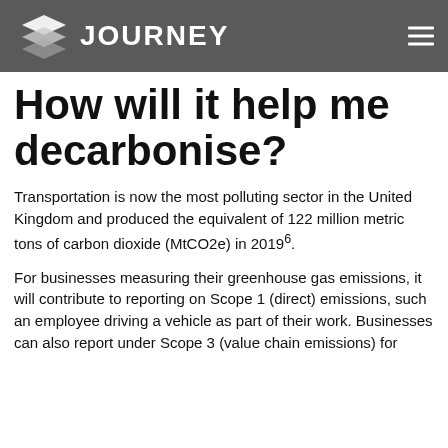JOURNEY
How will it help me decarbonise?
Transportation is now the most polluting sector in the United Kingdom and produced the equivalent of 122 million metric tons of carbon dioxide (MtCO2e) in 2019⁶.
For businesses measuring their greenhouse gas emissions, it will contribute to reporting on Scope 1 (direct) emissions, such an employee driving a vehicle as part of their work. Businesses can also report under Scope 3 (value chain emissions) for